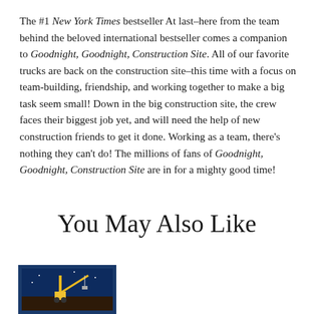The #1 New York Times bestseller At last–here from the team behind the beloved international bestseller comes a companion to Goodnight, Goodnight, Construction Site. All of our favorite trucks are back on the construction site–this time with a focus on team-building, friendship, and working together to make a big task seem small! Down in the big construction site, the crew faces their biggest job yet, and will need the help of new construction friends to get it done. Working as a team, there's nothing they can't do! The millions of fans of Goodnight, Goodnight, Construction Site are in for a mighty good time!
You May Also Like
[Figure (photo): Book cover thumbnail showing a construction-themed children's book with a yellow crane on dark blue background]